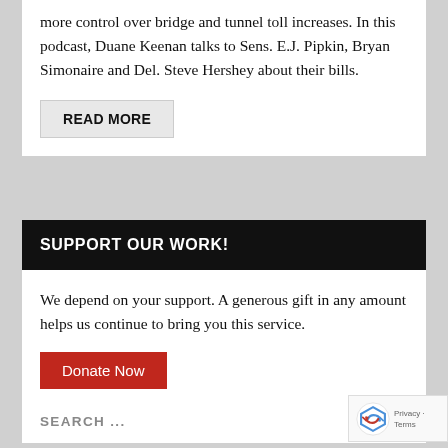more control over bridge and tunnel toll increases. In this podcast, Duane Keenan talks to Sens. E.J. Pipkin, Bryan Simonaire and Del. Steve Hershey about their bills.
READ MORE
SUPPORT OUR WORK!
We depend on your support. A generous gift in any amount helps us continue to bring you this service.
Donate Now
SEARCH ...